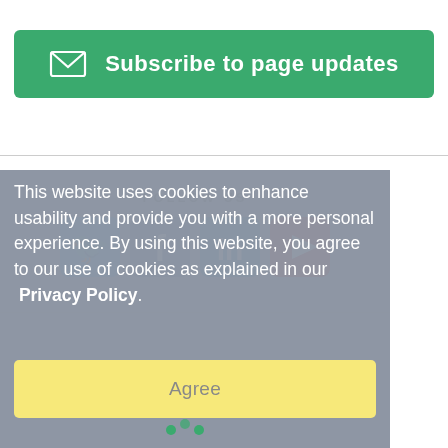[Figure (other): Green subscribe button with envelope icon and text 'Subscribe to page updates']
[Figure (other): Footer section with FOLLOW US heading and social media icons: Twitter, Facebook, LinkedIn, YouTube]
This website uses cookies to enhance usability and provide you with a more personal experience. By using this website, you agree to our use of cookies as explained in our Privacy Policy.
[Figure (other): Yellow Agree button for cookie consent]